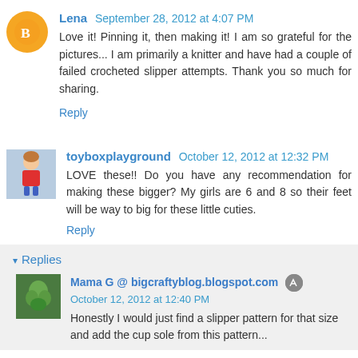Lena  September 28, 2012 at 4:07 PM
Love it! Pinning it, then making it! I am so grateful for the pictures... I am primarily a knitter and have had a couple of failed crocheted slipper attempts. Thank you so much for sharing.
Reply
toyboxplayground  October 12, 2012 at 12:32 PM
LOVE these!! Do you have any recommendation for making these bigger? My girls are 6 and 8 so their feet will be way to big for these little cuties.
Reply
Replies
Mama G @ bigcraftyblog.blogspot.com  October 12, 2012 at 12:40 PM
Honestly I would just find a slipper pattern for that size and add the cup sole from this pattern...